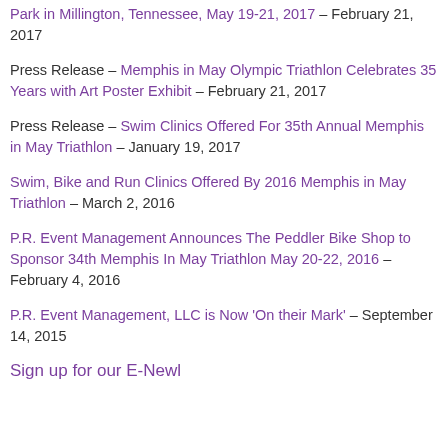Park in Millington, Tennessee, May 19-21, 2017 – February 21, 2017
Press Release – Memphis in May Olympic Triathlon Celebrates 35 Years with Art Poster Exhibit – February 21, 2017
Press Release – Swim Clinics Offered For 35th Annual Memphis in May Triathlon – January 19, 2017
Swim, Bike and Run Clinics Offered By 2016 Memphis in May Triathlon – March 2, 2016
P.R. Event Management Announces The Peddler Bike Shop to Sponsor 34th Memphis In May Triathlon May 20-22, 2016 – February 4, 2016
P.R. Event Management, LLC is Now 'On their Mark' – September 14, 2015
Sign up for our E-Newl